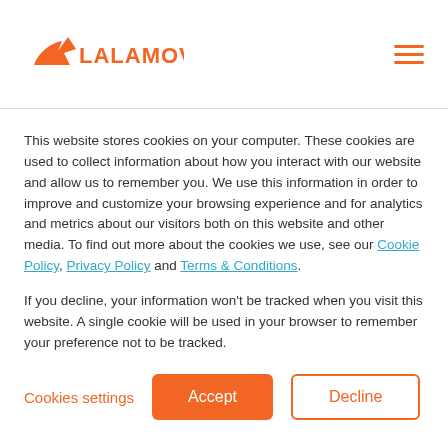LALAMOVE
including performance metrics of services provided by the Driver;
(9) for non-marketing communications
This website stores cookies on your computer. These cookies are used to collect information about how you interact with our website and allow us to remember you. We use this information in order to improve and customize your browsing experience and for analytics and metrics about our visitors both on this website and other media. To find out more about the cookies we use, see our Cookie Policy, Privacy Policy and Terms & Conditions.
If you decline, your information won't be tracked when you visit this website. A single cookie will be used in your browser to remember your preference not to be tracked.